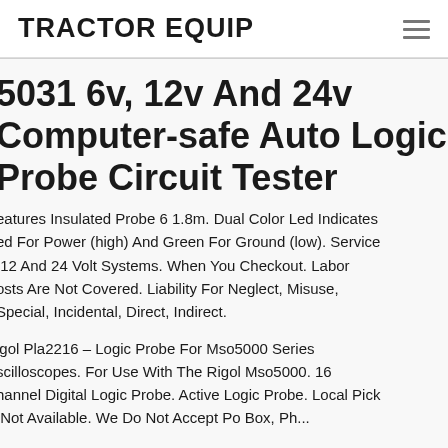TRACTOR EQUIP
5031 6v, 12v And 24v Computer-safe Auto Logic Probe Circuit Tester
Features Insulated Probe 6 1.8m. Dual Color Led Indicates Led For Power (high) And Green For Ground (low). Service 12 And 24 Volt Systems. When You Checkout. Labor Posts Are Not Covered. Liability For Neglect, Misuse, Special, Incidental, Direct, Indirect.
igol Pla2216 – Logic Probe For Mso5000 Series Oscilloscopes. For Use With The Rigol Mso5000. 16 Channel Digital Logic Probe. Active Logic Probe. Local Pick Not Available. We Do Not Accept Po Box, Ph...